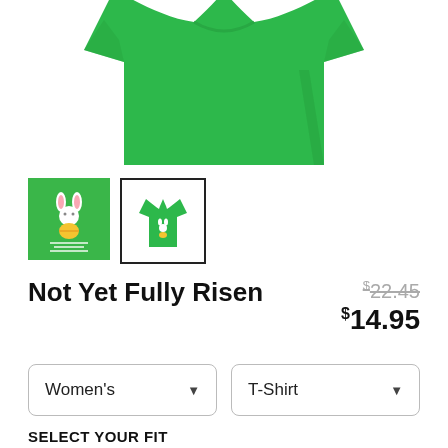[Figure (photo): Green t-shirt product photo shown from the front, partially cropped at top]
[Figure (photo): Two product thumbnails: first shows green background with Easter bunny design, second shows the green t-shirt on white background with black border]
Not Yet Fully Risen
$22.45 (strikethrough original price) $14.95 (sale price)
Women's (dropdown) T-Shirt (dropdown)
SELECT YOUR FIT